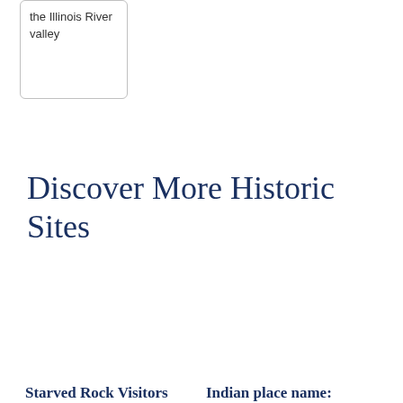the Illinois River valley
Discover More Historic Sites
Starved Rock Visitors
Indian place name: